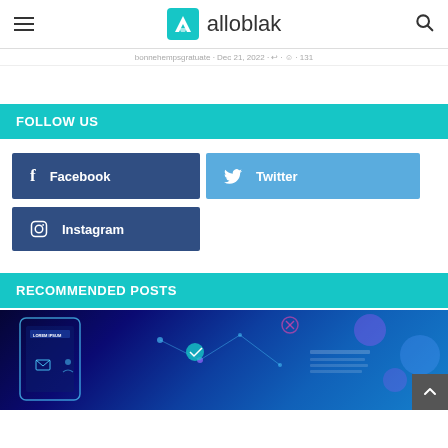alloblak
bonnehempsgratuate · Dec 21, 2022 · ↩ · ☺ · 131
FOLLOW US
Facebook
Twitter
Instagram
RECOMMENDED POSTS
[Figure (photo): Blue glowing digital interface with Lorem Ipsum text and icons on dark background]